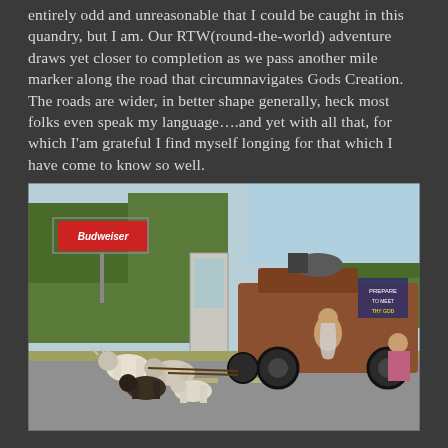entirely odd and unreasonable that I could be caught in this quandry, but I am. Our RTW(round-the-world) adventure draws yet closer to completion as we pass another mile marker along the road that circumnavigates Gods Creation. The roads are wider, in better shape generally, heck most folks even speak my language….and yet with all that, for which I'am grateful I find myself longing for that which I have come to know so well.
[Figure (photo): Vintage color photograph showing a heavily loaded old vehicle or wagon stopped on a road, with several goats or small animals harnessed in front. People are seated on the vehicle. A Budweiser sign is visible in the background along with trees.]